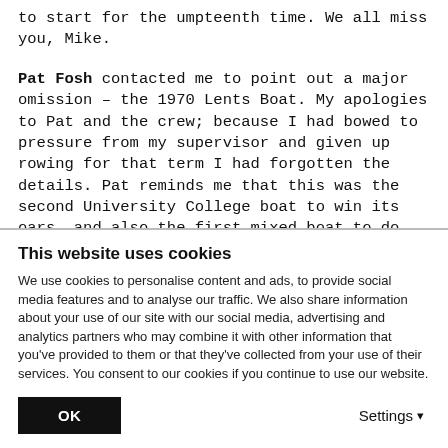to start for the umpteenth time. We all miss you, Mike.

Pat Fosh contacted me to point out a major omission – the 1970 Lents Boat. My apologies to Pat and the crew; because I had bowed to pressure from my supervisor and given up rowing for that term I had forgotten the details. Pat reminds me that this was the second University College boat to win its oars, and also the first mixed boat to do so, with Pat at bow. She has provided me with the following crew list and list of bumps:
This website uses cookies
We use cookies to personalise content and ads, to provide social media features and to analyse our traffic. We also share information about your use of our site with our social media, advertising and analytics partners who may combine it with other information that you've provided to them or that they've collected from your use of their services. You consent to our cookies if you continue to use our website.
OK
Settings